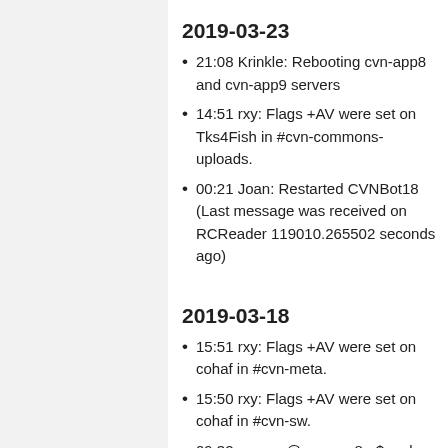2019-03-23
21:08 Krinkle: Rebooting cvn-app8 and cvn-app9 servers
14:51 rxy: Flags +AV were set on Tks4Fish in #cvn-commons-uploads.
00:21 Joan: Restarted CVNBot18 (Last message was received on RCReader 119010.265502 seconds ago)
2019-03-18
15:51 rxy: Flags +AV were set on cohaf in #cvn-meta.
15:50 rxy: Flags +AV were set on cohaf in #cvn-sw.
09:32 rxy: rxy@cvn-app8:~$ sudo kill $CVNBot3PID
2019-03-16